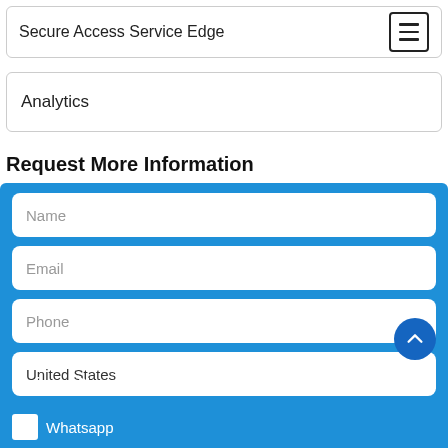Secure Access Service Edge
Analytics
Request More Information
[Figure (screenshot): Web form with blue background containing input fields for Name, Email, Phone, United States (country), Preferred Messenger with Text checkbox, and Whatsapp checkbox]